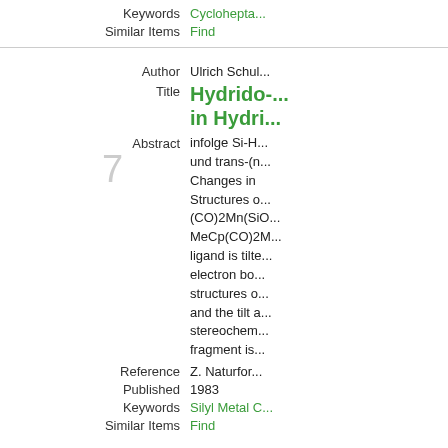Keywords   Cyclohepta...
Similar Items   Find
7
Author   Ulrich Schul...
Hydrido-... in Hydri...
Abstract   infolge Si-H... und trans-(n... Changes in... Structures o... (CO)2Mn(SiO... MeCp(CO)2M... ligand is tilt... electron bo... structures o... and the tilt a... stereochem... fragment is...
Reference   Z. Naturfor...
Published   1983
Keywords   Silyl Metal C...
Similar Items   Find